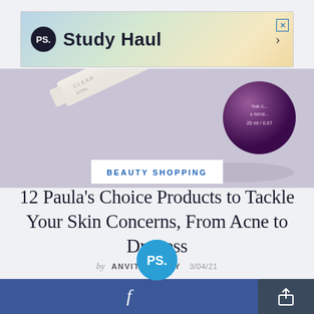[Figure (screenshot): Advertisement banner for 'Study Haul' with PS logo, gradient background, close button, and arrow]
[Figure (photo): Hero product photo showing a white tube and purple bottle/container of skincare product with '20 ml / 0.67' visible on label, on lavender/grey background]
BEAUTY SHOPPING
12 Paula's Choice Products to Tackle Your Skin Concerns, From Acne to Dryness
by ANVITA REDDY  3/04/21
[Figure (logo): POPSUGAR PS logo circle in blue at bottom center]
[Figure (screenshot): Bottom bar with Facebook share button (blue) and share/export button (dark grey)]